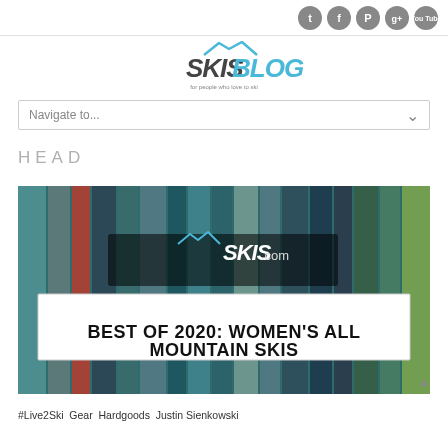Social icons: Twitter, Facebook, Pinterest, Google+, YouTube
[Figure (logo): SKISBLOG logo — SKIS in dark gray italic bold, BLOG in blue, mountain graphic above, tagline below]
Navigate to...
HEAD
[Figure (photo): Photo of multiple women's all mountain skis standing upright, with SKIS.com logo overlay and bold text 'BEST OF 2020: WOMEN'S ALL MOUNTAIN SKIS']
#Live2Ski  Gear  Hardgoods  Justin Sienkowski